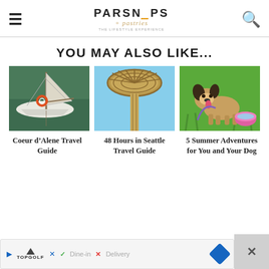PARSNIPS + pastries
YOU MAY ALSO LIKE...
[Figure (photo): Sailboat docked at a marina with green water reflections and an orange life preserver ring]
[Figure (photo): Looking up at the Space Needle in Seattle against a blue sky]
[Figure (photo): A corgi dog on green grass next to a pink water bowl]
Coeur d’Alene Travel Guide
48 Hours in Seattle Travel Guide
5 Summer Adventures for You and Your Dog
[Figure (screenshot): Advertisement bar showing Topgolf logo with Dine-in checkmark and Delivery X options, navigation arrow icon]